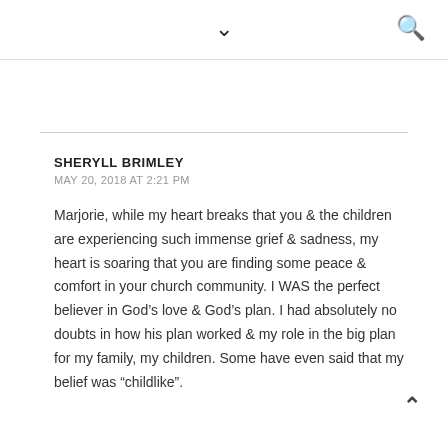▾  🔍
SHERYLL BRIMLEY
MAY 20, 2018 AT 2:21 PM

Marjorie, while my heart breaks that you & the children are experiencing such immense grief & sadness, my heart is soaring that you are finding some peace & comfort in your church community. I WAS the perfect believer in God's love & God's plan. I had absolutely no doubts in how his plan worked & my role in the big plan for my family, my children. Some have even said that my belief was "childlike".